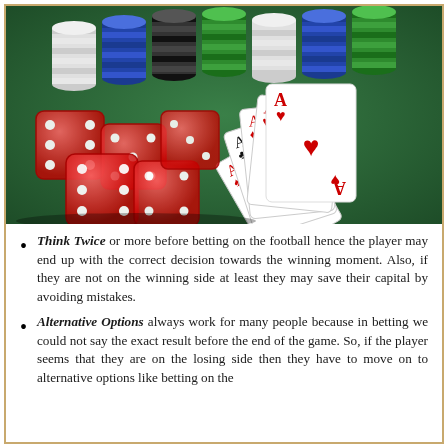[Figure (photo): Casino photo showing red transparent dice, playing cards (aces), and colorful poker chip stacks on a green felt surface]
Think Twice or more before betting on the football hence the player may end up with the correct decision towards the winning moment. Also, if they are not on the winning side at least they may save their capital by avoiding mistakes.
Alternative Options always work for many people because in betting we could not say the exact result before the end of the game. So, if the player seems that they are on the losing side then they have to move on to alternative options like betting on the